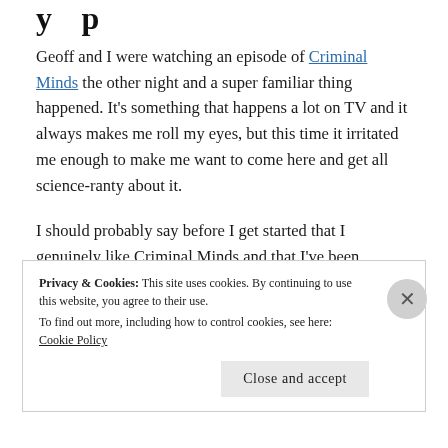Geoff and I were watching an episode of Criminal Minds the other night and a super familiar thing happened. It's something that happens a lot on TV and it always makes me roll my eyes, but this time it irritated me enough to make me want to come here and get all science-ranty about it.
I should probably say before I get started that I genuinely like Criminal Minds and that I've been watching it off and on since Season 1. This problem is
Privacy & Cookies: This site uses cookies. By continuing to use this website, you agree to their use.
To find out more, including how to control cookies, see here: Cookie Policy